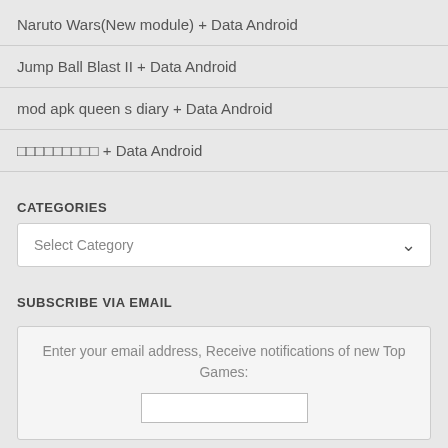Naruto Wars(New module) + Data Android
Jump Ball Blast II + Data Android
mod apk queen s diary + Data Android
□□□□□□□□□ + Data Android
CATEGORIES
Select Category
SUBSCRIBE VIA EMAIL
Enter your email address, Receive notifications of new Top Games: